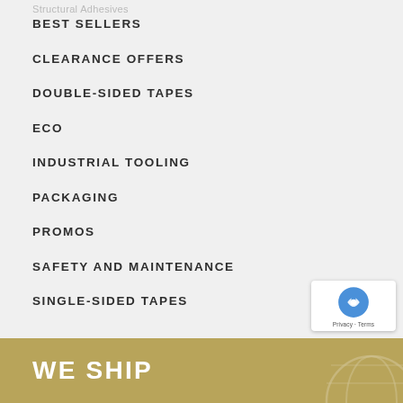Structural Adhesives
BEST SELLERS
CLEARANCE OFFERS
DOUBLE-SIDED TAPES
ECO
INDUSTRIAL TOOLING
PACKAGING
PROMOS
SAFETY AND MAINTENANCE
SINGLE-SIDED TAPES
WE SHIP